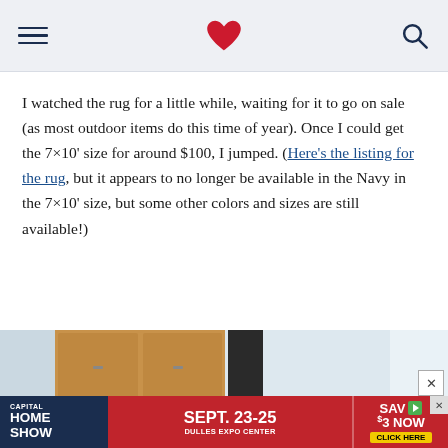[hamburger menu] [heart logo] [search icon]
I watched the rug for a little while, waiting for it to go on sale (as most outdoor items do this time of year). Once I could get the 7×10’ size for around $100, I jumped. (Here’s the listing for the rug, but it appears to no longer be available in the Navy in the 7×10’ size, but some other colors and sizes are still available!)
[Figure (photo): Interior kitchen/home photo showing wooden cabinets, a potted green grass plant on a white counter, with partial ad banner overlay at bottom.]
[Figure (other): Advertisement banner: CAPITAL HOME SHOW | SEPT. 23-25 DULLES EXPO CENTER | SAVE $3 NOW CLICK HERE]